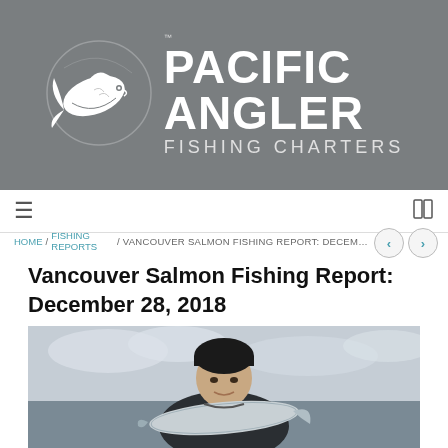[Figure (logo): Pacific Angler Fishing Charters logo — white fish illustration with bold white text on grey background]
≡   HOME / FISHING REPORTS / VANCOUVER SALMON FISHING REPORT: DECEMBER 28, 2018   ⊞
Vancouver Salmon Fishing Report: December 28, 2018
[Figure (photo): Man in dark winter jacket and black beanie hat holding a large salmon fish on a boat, overcast sky and water in background]